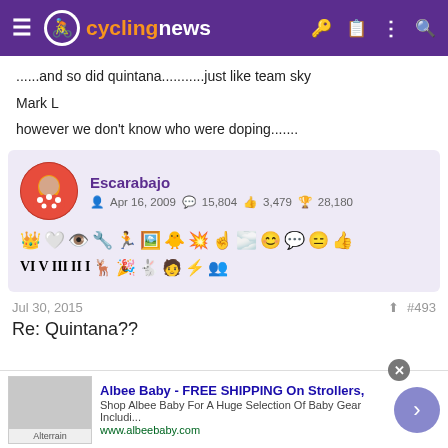cyclingnews
......and so did quintana...........just like team sky
Mark L
however we don't know who were doping.......
Escarabajo
Apr 16, 2009  15,804  3,479  28,180
Jul 30, 2015  #493
Re: Quintana??
Albee Baby - FREE SHIPPING On Strollers,
Shop Albee Baby For A Huge Selection Of Baby Gear Includi...
www.albeebaby.com